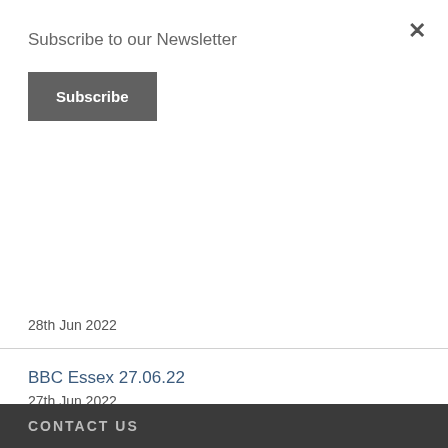Subscribe to our Newsletter
Subscribe
30th Jun 2022
The COVID-19 Dashboard Moves to Weekly Updates
28th Jun 2022
Staying Safe During Summer
28th Jun 2022
BBC Essex 27.06.22
27th Jun 2022
CONTACT US